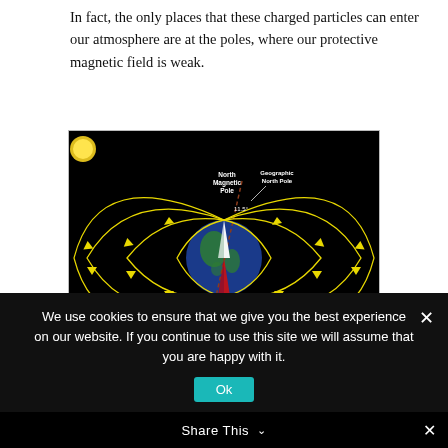In fact, the only places that these charged particles can enter our atmosphere are at the poles, where our protective magnetic field is weak.
[Figure (illustration): Diagram of Earth's magnetic field lines (shown in yellow) emanating from the North and South Magnetic Poles against a black background. Labels indicate North Magnetic Pole, Geographic North Pole, South Magnetic Pole, and Geographic South Pole. A compass needle (white and red) is shown inside the Earth. A sun is visible in the upper left corner. Arrows along the field lines show direction of the field.]
We use cookies to ensure that we give you the best experience on our website. If you continue to use this site we will assume that you are happy with it.